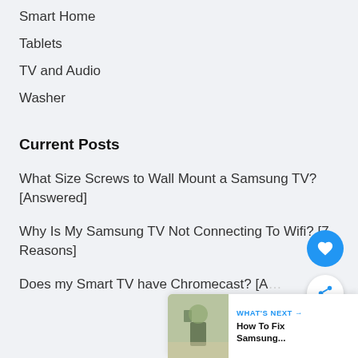Smart Home
Tablets
TV and Audio
Washer
Current Posts
What Size Screws to Wall Mount a Samsung TV? [Answered]
Why Is My Samsung TV Not Connecting To Wifi? [7 Reasons]
Does my Smart TV have Chromecast? [A…
WHAT'S NEXT → How To Fix Samsung...